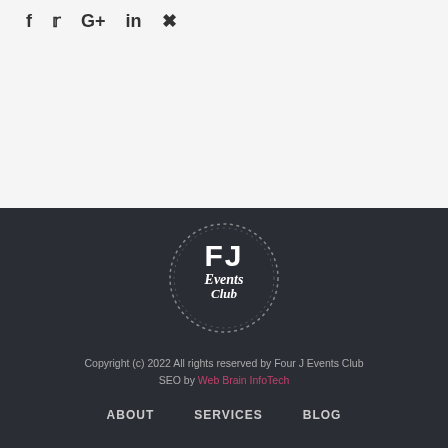f   Twitter   G+   in   Pinterest
[Figure (logo): FJ Events Club circular logo with dotted border on dark background]
Copyright (c) 2022 All rights reserved by Four J Events Club
SEO by Web Brain InfoTech
ABOUT   SERVICES   BLOG